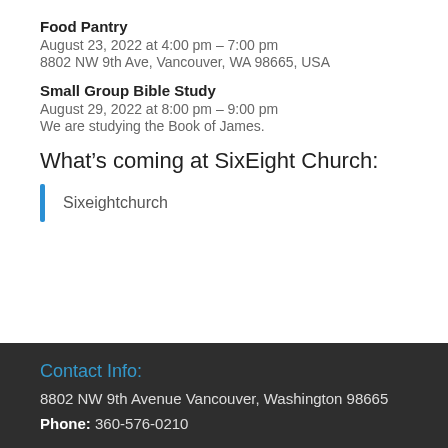Food Pantry
August 23, 2022 at 4:00 pm – 7:00 pm
8802 NW 9th Ave, Vancouver, WA 98665, USA
Small Group Bible Study
August 29, 2022 at 8:00 pm – 9:00 pm
We are studying the Book of James.
What's coming at SixEight Church:
Sixeightchurch
Contact Info:
8802 NW 9th Avenue Vancouver, Washington 98665
Phone: 360-576-0210